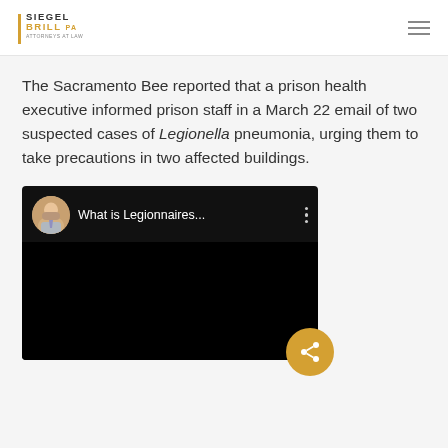Siegel Brill PA — attorneys at law
The Sacramento Bee reported that a prison health executive informed prison staff in a March 22 email of two suspected cases of Legionella pneumonia, urging them to take precautions in two affected buildings.
[Figure (screenshot): Embedded video thumbnail with title 'What is Legionnaires...' showing a man in a suit and tie with a three-dot menu icon, and an orange share button overlay in the bottom-right corner.]